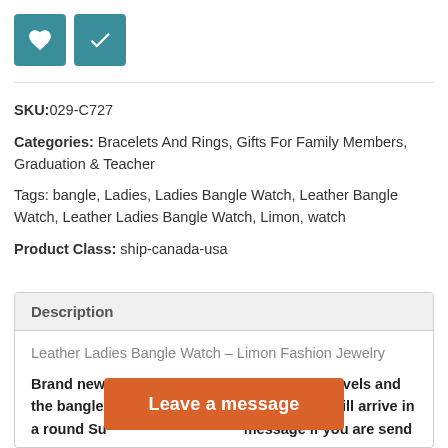[Figure (other): Two teal square icon buttons: a heart icon and a checkmark icon]
SKU:029-C727
Categories: Bracelets And Rings, Gifts For Family Members, Graduation & Teacher
Tags: bangle, Ladies, Ladies Bangle Watch, Leather Bangle Watch, Leather Ladies Bangle Watch, Limon, watch
Product Class: ship-canada-usa
Description
Leather Ladies Bangle Watch – Limon Fashion Jewelry
Brand new design! The watch face has two levels and the bangle has a [obscured] It will arrive in a round Su[obscured] message if you are send[obscured] to choos
[Figure (other): Orange overlay button with text 'Leave a message']